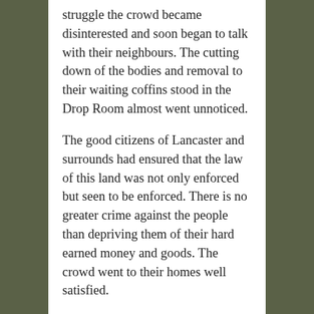struggle the crowd became disinterested and soon began to talk with their neighbours. The cutting down of the bodies and removal to their waiting coffins stood in the Drop Room almost went unnoticed.
The good citizens of Lancaster and surrounds had ensured that the law of this land was not only enforced but seen to be enforced. There is no greater crime against the people than depriving them of their hard earned money and goods. The crowd went to their homes well satisfied.